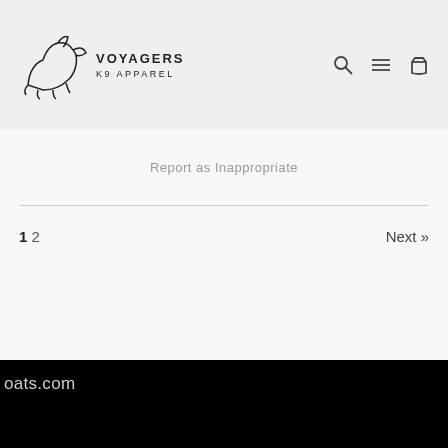VOYAGERS K9 APPAREL
Report as Inappropriate
1 2  Next »
oats.com